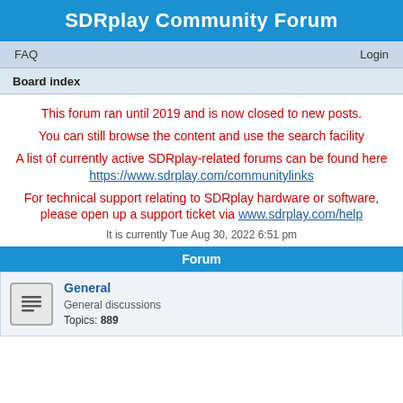SDRplay Community Forum
FAQ    Login
Board index
This forum ran until 2019 and is now closed to new posts.
You can still browse the content and use the search facility
A list of currently active SDRplay-related forums can be found here https://www.sdrplay.com/communitylinks
For technical support relating to SDRplay hardware or software, please open up a support ticket via www.sdrplay.com/help
It is currently Tue Aug 30, 2022 6:51 pm
Forum
General
General discussions
Topics: 889